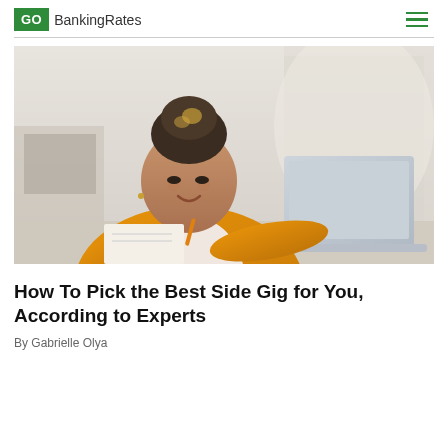GO BankingRates
[Figure (photo): A young Black woman with braided hair in a bun, wearing an orange jacket, sitting at a desk working on a laptop and writing notes, in a bright kitchen background.]
How To Pick the Best Side Gig for You, According to Experts
By Gabrielle Olya